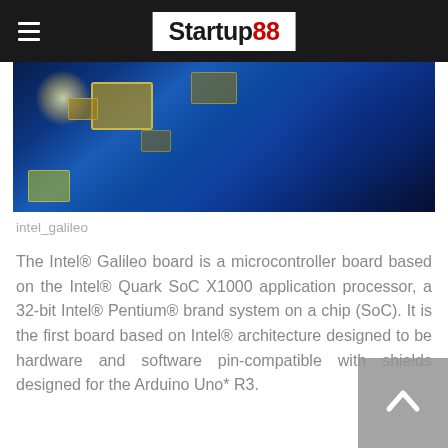Startup88
[Figure (photo): Close-up photograph of an Intel Galileo circuit board showing chips, capacitors, and electronic components on a blue PCB.]
intel_galileo
The Intel® Galileo board is a microcontroller board based on the Intel® Quark SoC X1000 application processor, a 32-bit Intel® Pentium® brand system on a chip (SoC). It is the first board based on Intel® architecture designed to be hardware and software pin-compatible with shields designed for the Arduino Uno* R3.